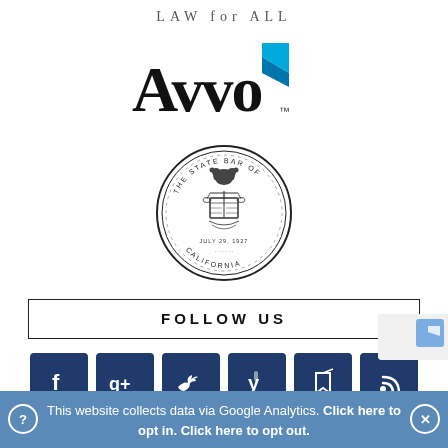LAW for ALL
[Figure (logo): Avvo logo with blue arrow/triangle and black Avvo text with TM mark]
[Figure (logo): State Bar of California circular seal/emblem]
FOLLOW US
[Figure (infographic): Six social media icon buttons: Facebook, Google+, Twitter, Yelp, a bookmark/share icon, and RSS feed — all dark navy blue square icons]
This website collects data via Google Analytics. Click here to opt in. Click here to opt out.